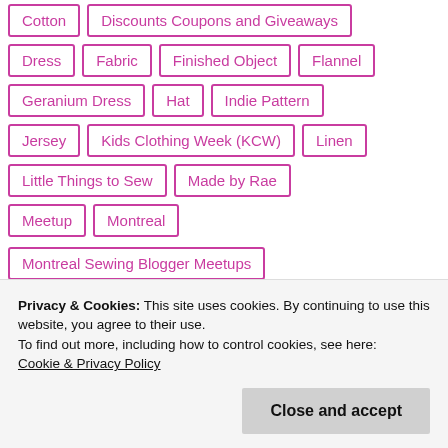Cotton
Discounts Coupons and Giveaways
Dress
Fabric
Finished Object
Flannel
Geranium Dress
Hat
Indie Pattern
Jersey
Kids Clothing Week (KCW)
Linen
Little Things to Sew
Made by Rae
Meetup
Montreal
Montreal Sewing Blogger Meetups
Privacy & Cookies: This site uses cookies. By continuing to use this website, you agree to their use. To find out more, including how to control cookies, see here: Cookie & Privacy Policy
Close and accept